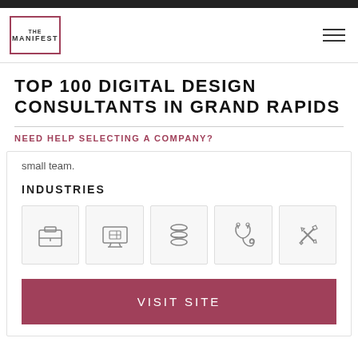THE MANIFEST
TOP 100 DIGITAL DESIGN CONSULTANTS IN GRAND RAPIDS
NEED HELP SELECTING A COMPANY?
small team.
INDUSTRIES
[Figure (illustration): Five industry icons in gray boxes: briefcase (business services), computer with shopping cart (e-commerce), stacked coins (finance/banking), stethoscope (healthcare/medical), and wrench with screwdriver (technical/utilities)]
VISIT SITE